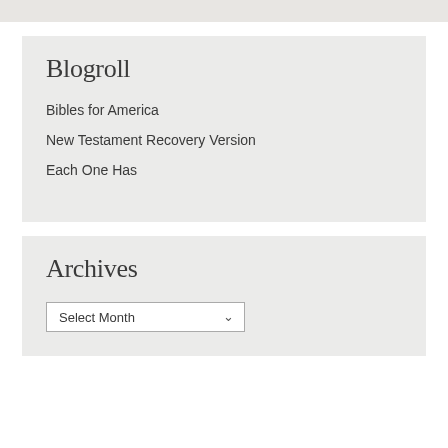Blogroll
Bibles for America
New Testament Recovery Version
Each One Has
Archives
Select Month